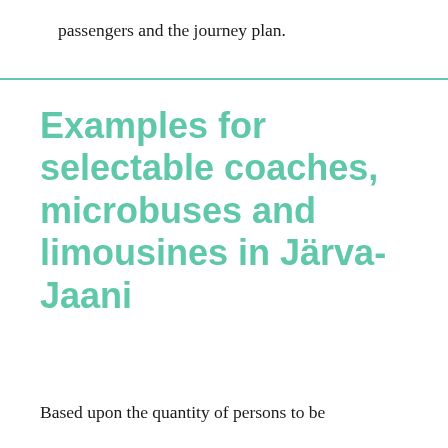passengers and the journey plan.
Examples for selectable coaches, microbuses and limousines in Järva-Jaani
Based upon the quantity of persons to be